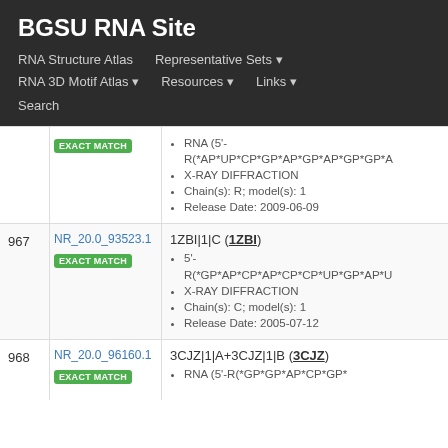BGSU RNA Site
RNA Structure Atlas
Representative Sets
RNA 3D Motif Atlas
Resources
Links
Search
| # | ID | Info |
| --- | --- | --- |
|  | EXACT MATCH | RNA (5'-R(*AP*UP*CP*GP*AP*GP*AP*GP*GP*A
X-RAY DIFFRACTION
Chain(s): R; model(s): 1
Release Date: 2009-06-09 |
| 967 | NR_20.0_93523.1
EXACT MATCH | 1ZBI|1|C (1ZBI)
5'-R(*GP*AP*CP*AP*CP*CP*UP*GP*AP*U
X-RAY DIFFRACTION
Chain(s): C; model(s): 1
Release Date: 2005-07-12 |
| 968 | NR_20.0_96160.1
EXACT MATCH | 3CJZ|1|A+3CJZ|1|B (3CJZ)
RNA (5'-R(*GP*GP*AP*CP*GP* |